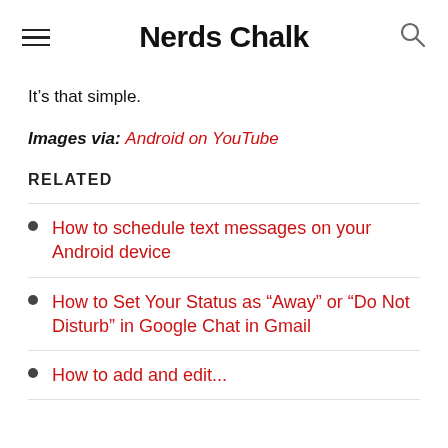Nerds Chalk
It’s that simple.
Images via: Android on YouTube
RELATED
How to schedule text messages on your Android device
How to Set Your Status as “Away” or “Do Not Disturb” in Google Chat in Gmail
How to add and edit...